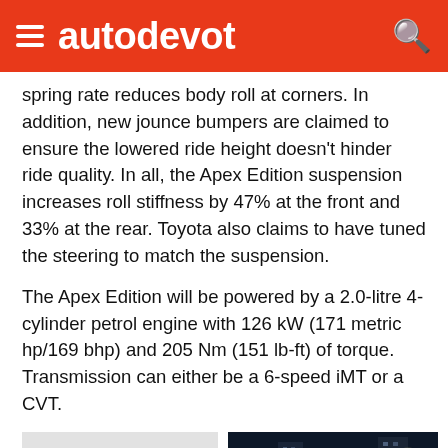autodevot
spring rate reduces body roll at corners. In addition, new jounce bumpers are claimed to ensure the lowered ride height doesn't hinder ride quality. In all, the Apex Edition suspension increases roll stiffness by 47% at the front and 33% at the rear. Toyota also claims to have tuned the steering to match the suspension.
The Apex Edition will be powered by a 2.0-litre 4-cylinder petrol engine with 126 kW (171 metric hp/169 bhp) and 205 Nm (151 lb-ft) of torque. Transmission can either be a 6-speed iMT or a CVT.
[Figure (photo): Red Toyota Corolla Apex Edition sedan shown from front three-quarter view on white background]
[Figure (photo): Dark/black Toyota Corolla Apex Edition shown from rear three-quarter view driving at night on a city road with illuminated red taillights]